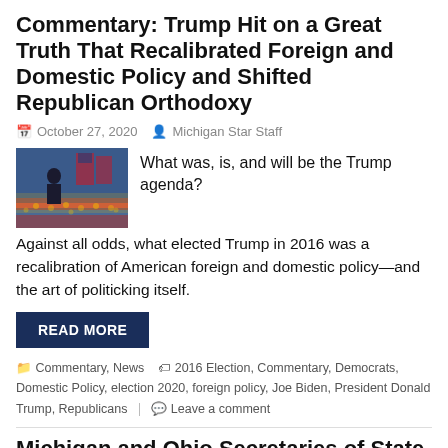Commentary: Trump Hit on a Great Truth That Recalibrated Foreign and Domestic Policy and Shifted Republican Orthodoxy
October 27, 2020   Michigan Star Staff
[Figure (photo): Photo of Trump at a campaign rally with American flags in the background]
What was, is, and will be the Trump agenda?
Against all odds, what elected Trump in 2016 was a recalibration of American foreign and domestic policy—and the art of politicking itself.
READ MORE
Commentary, News   2016 Election, Commentary, Democrats, Domestic Policy, election 2020, foreign policy, Joe Biden, President Donald Trump, Republicans   Leave a comment
Michigan and Ohio Secretaries of State Endorse Zuckerberg's Millions Directed to Elections